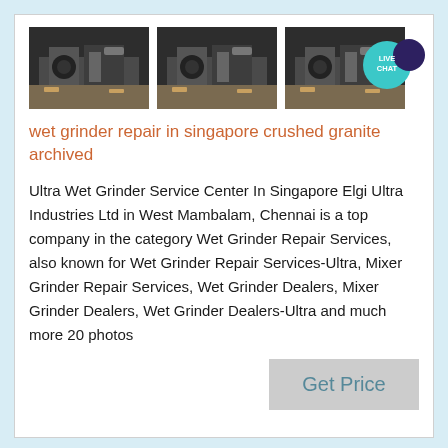[Figure (photo): Three images of industrial wet grinder machinery shown side by side]
wet grinder repair in singapore crushed granite archived
Ultra Wet Grinder Service Center In Singapore Elgi Ultra Industries Ltd in West Mambalam, Chennai is a top company in the category Wet Grinder Repair Services, also known for Wet Grinder Repair Services-Ultra, Mixer Grinder Repair Services, Wet Grinder Dealers, Mixer Grinder Dealers, Wet Grinder Dealers-Ultra and much more 20 photos
Get Price